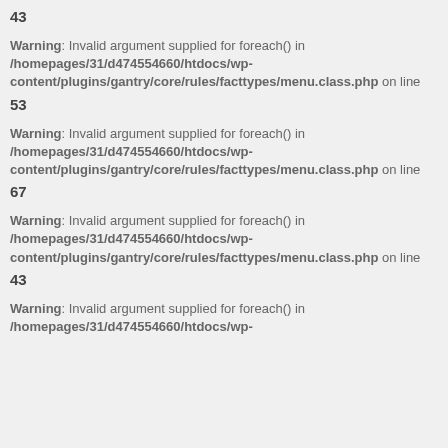43
Warning: Invalid argument supplied for foreach() in /homepages/31/d474554660/htdocs/wp-content/plugins/gantry/core/rules/facttypes/menu.class.php on line 53
Warning: Invalid argument supplied for foreach() in /homepages/31/d474554660/htdocs/wp-content/plugins/gantry/core/rules/facttypes/menu.class.php on line 67
Warning: Invalid argument supplied for foreach() in /homepages/31/d474554660/htdocs/wp-content/plugins/gantry/core/rules/facttypes/menu.class.php on line 43
Warning: Invalid argument supplied for foreach() in /homepages/31/d474554660/htdocs/wp-content/plugins/gantry/core/rules/facttypes/menu.class.php